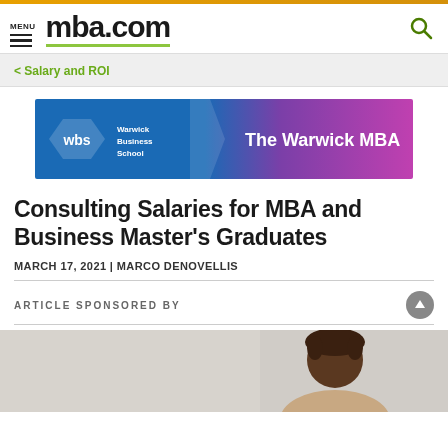mba.com
< Salary and ROI
[Figure (illustration): Warwick Business School banner ad — blue to purple gradient background, WBS logo on left, text 'The Warwick MBA' on right]
Consulting Salaries for MBA and Business Master's Graduates
MARCH 17, 2021 | MARCO DENOVELLIS
ARTICLE SPONSORED BY
[Figure (photo): Person with braided hair, partial view from bottom of page]